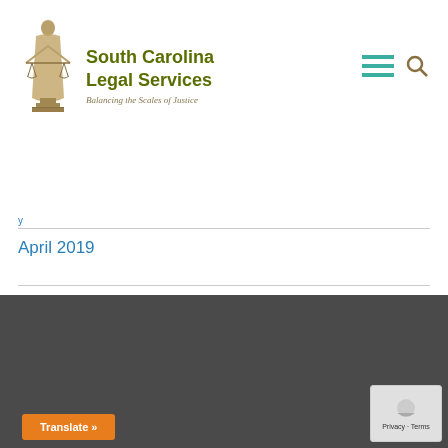[Figure (logo): South Carolina Legal Services logo with lady justice figure holding scales, tagline 'Balancing the Scales of Justice']
April 2019
About SCLS
South Carolina Legal Services (SCLS) provides free legal assistance in a wide variety of civil (non-criminal) legal matters to eligible low income residents of South Carolina.